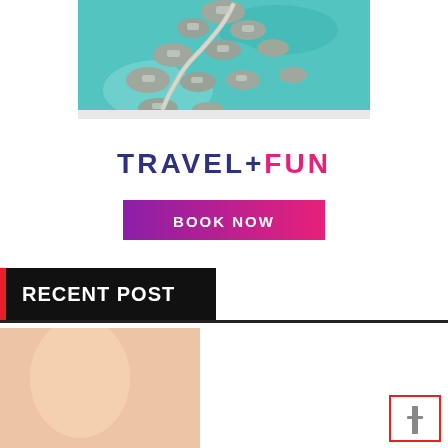[Figure (photo): Aerial view of overwater bungalows connected by a winding path/boardwalk over turquoise water, viewed from above.]
[Figure (logo): TRAVEL+FUN logo with TRAVEL+ in dark blue and FUN in pink/magenta bold text.]
[Figure (infographic): BOOK NOW button with purple to pink gradient background and white bold text.]
RECENT POST
[Figure (photo): Partial photo visible at the bottom of the page, appears to show a person.]